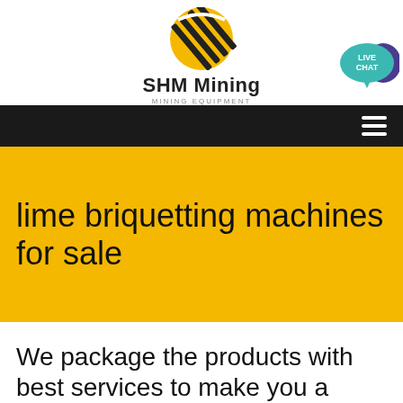[Figure (logo): SHM Mining logo with diagonal stripe icon, company name 'SHM Mining' and subtitle 'MINING EQUIPMENT']
[Figure (infographic): Teal speech bubble with 'LIVE CHAT' text and purple chat bubble icon]
[Figure (infographic): Black navigation bar with white hamburger menu icon on right side]
lime briquetting machines for sale
We package the products with best services to make you a happy